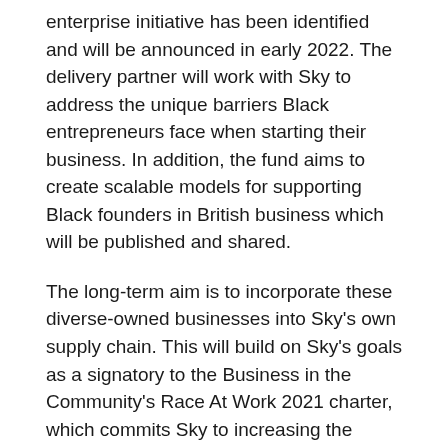enterprise initiative has been identified and will be announced in early 2022. The delivery partner will work with Sky to address the unique barriers Black entrepreneurs face when starting their business. In addition, the fund aims to create scalable models for supporting Black founders in British business which will be published and shared.
The long-term aim is to incorporate these diverse-owned businesses into Sky's own supply chain. This will build on Sky's goals as a signatory to the Business in the Community's Race At Work 2021 charter, which commits Sky to increasing the number of Black and minority-led enterprise owners in its supply chains.
Sky's £30m has already funded a three-year partnership between Sky and Kick It Out to drive inclusion in football and make it easier for football fans to report discrimination.